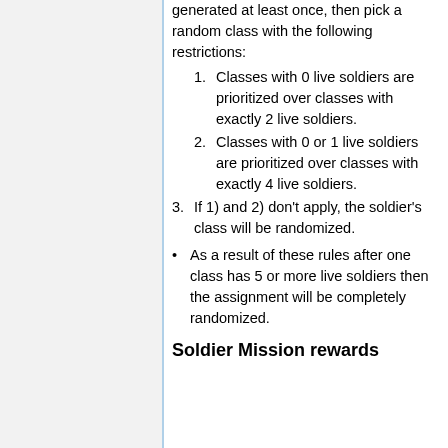generated at least once, then pick a random class with the following restrictions:
1. Classes with 0 live soldiers are prioritized over classes with exactly 2 live soldiers.
2. Classes with 0 or 1 live soldiers are prioritized over classes with exactly 4 live soldiers.
3. If 1) and 2) don't apply, the soldier's class will be randomized.
As a result of these rules after one class has 5 or more live soldiers then the assignment will be completely randomized.
Soldier Mission rewards